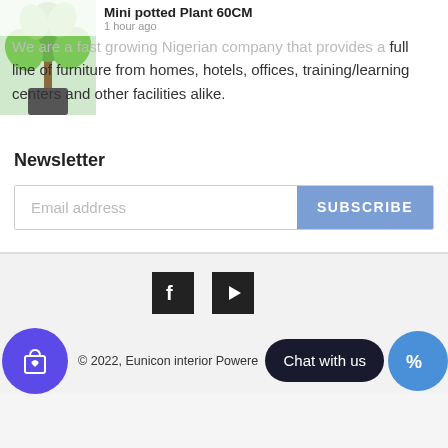[Figure (photo): Small potted plant image in top left corner]
Mini potted Plant 60CM
1 hour ago
We are a fast growing Nigerian company that provides a full line of furniture from homes, hotels, offices, training/learning centers and other facilities alike.
Newsletter
Email address
SUBSCRIBE
[Figure (logo): Facebook icon (dark square with F)]
[Figure (logo): YouTube/play button icon (dark square with triangle)]
© 2022, Eunicon interior Powered
Chat with us